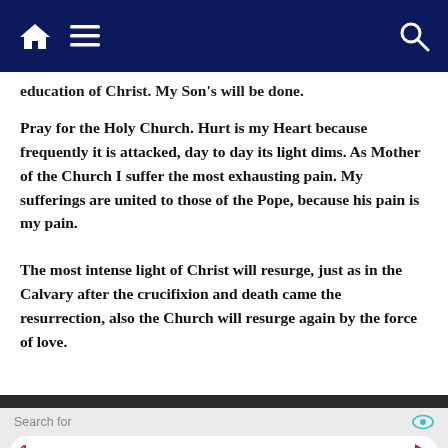[Navigation bar with home, menu, and search icons]
education of Christ.  My Son's will be done.
Pray for the Holy Church.  Hurt is my Heart because frequently it is attacked, day to day its light dims.  As Mother of the Church I suffer the most exhausting pain.  My sufferings are united to those of the Pope, because his pain is my pain.
The most intense light of Christ will resurge, just as in the Calvary after the crucifixion and death came the resurrection, also the Church will resurge again by the force of love.
Search for
1  ONLINE MOTIVATIONAL QUOTES
2  PRECEPT BIBLE STUDIES